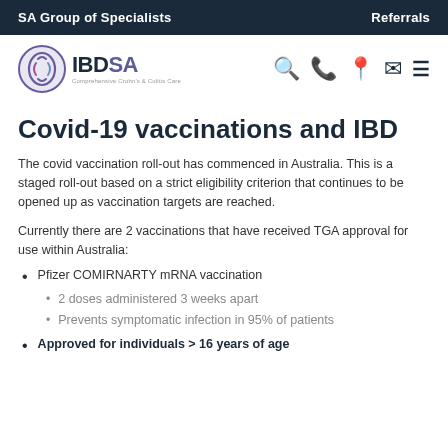SA Group of Specialists    Referrals
[Figure (logo): IBD SA logo - circular emblem with digestive tract graphic, text IBDSA, subtitle Comprehensive Crohn's & Colitis Care]
Covid-19 vaccinations and IBD
The covid vaccination roll-out has commenced in Australia. This is a staged roll-out based on a strict eligibility criterion that continues to be opened up as vaccination targets are reached.
Currently there are 2 vaccinations that have received TGA approval for use within Australia:
Pfizer COMIRNARTY mRNA vaccination
2 doses administered 3 weeks apart
Prevents symptomatic infection in 95% of patients
Approved for individuals > 16 years of age